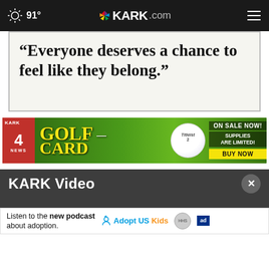91° KARK.com
“Everyone deserves a chance to feel like they belong.”
[Figure (advertisement): KARK 4 News Golf Card advertisement banner with Titleist golf ball, yellow text on green background. ON SALE NOW! SUPPLIES ARE LIMITED! BUY NOW.]
KARK Video
Listen to the new podcast about adoption.